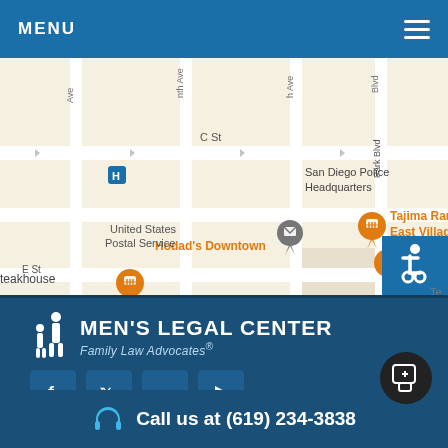MENU
[Figure (map): Google Maps screenshot showing downtown San Diego area with landmarks: Hodad's Downtown, United States Postal Service, Tajima Ramen East Village, Lola 55 Tacos & Cocktails, Punch Bowl Social San Diego, San Diego Police Headquarters. Streets visible: C St, E St, Park Blvd. Orange food pins and gray location pins visible. Accessibility icon in bottom right corner.]
[Figure (logo): Men's Legal Center logo with white silhouettes of adult and child figures, text reading MEN'S LEGAL CENTER in bold white capitals, and tagline 'Family Law Advocates®' in italic light blue text]
Social media icons: Facebook, Twitter, LinkedIn, YouTube
Call us at (619) 234-3838